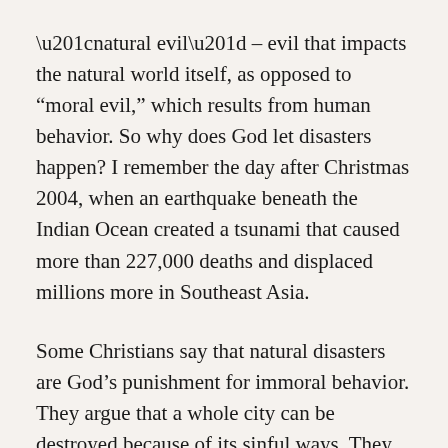“natural evil” – evil that impacts the natural world itself, as opposed to “moral evil,” which results from human behavior. So why does God let disasters happen? I remember the day after Christmas 2004, when an earthquake beneath the Indian Ocean created a tsunami that caused more than 227,000 deaths and displaced millions more in Southeast Asia.
Some Christians say that natural disasters are God’s punishment for immoral behavior. They argue that a whole city can be destroyed because of its sinful ways. They point to New Orleans, hit by Hurricane Katrina in 2005. They say this happened because